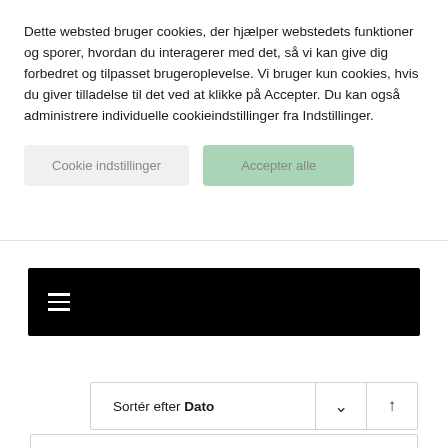Dette websted bruger cookies, der hjælper webstedets funktioner og sporer, hvordan du interagerer med det, så vi kan give dig forbedret og tilpasset brugeroplevelse. Vi bruger kun cookies, hvis du giver tilladelse til det ved at klikke på Accepter. Du kan også administrere individuelle cookieindstillinger fra Indstillinger.
[Figure (screenshot): Two buttons: 'Cookie indstillinger' (grey) and 'Accepter alle' (green/mint)]
[Figure (screenshot): Black navigation bar with hamburger menu icon (three horizontal lines) on the left]
[Figure (screenshot): Sort bar with label 'Sortér efter Dato', a dropdown chevron button, and an ascending sort arrow button]